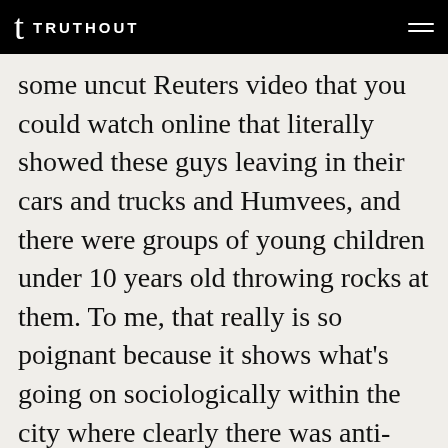TRUTHOUT
some uncut Reuters video that you could watch online that literally showed these guys leaving in their cars and trucks and Humvees, and there were groups of young children under 10 years old throwing rocks at them. To me, that really is so poignant because it shows what’s going on sociologically within the city where clearly there was anti-government sentiment rampant around the city to the point not only among adults but of course automatically most of the kids are on board with it too.